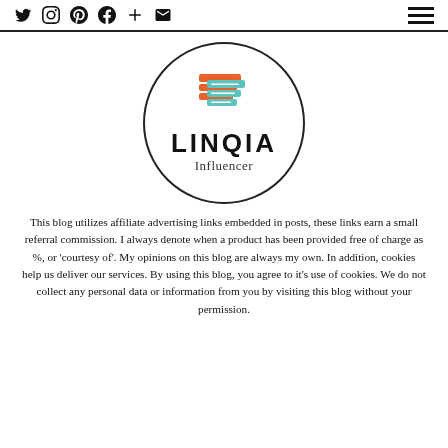Social media icons: Twitter, Instagram, Pinterest, Facebook, Plus, Email | Hamburger menu
[Figure (logo): Linqia Influencer logo: circular border containing an orange and teal layered document icon above the bold text LINQIA and italic text Influencer]
This blog utilizes affiliate advertising links embedded in posts, these links earn a small referral commission. I always denote when a product has been provided free of charge as %, or 'courtesy of'. My opinions on this blog are always my own. In addition, cookies help us deliver our services. By using this blog, you agree to it's use of cookies. We do not collect any personal data or information from you by visiting this blog without your permission.